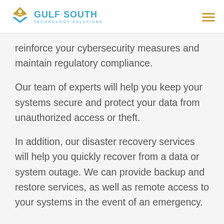GULF SOUTH TECHNOLOGY SOLUTIONS
reinforce your cybersecurity measures and maintain regulatory compliance.
Our team of experts will help you keep your systems secure and protect your data from unauthorized access or theft.
In addition, our disaster recovery services will help you quickly recover from a data or system outage. We can provide backup and restore services, as well as remote access to your systems in the event of an emergency.